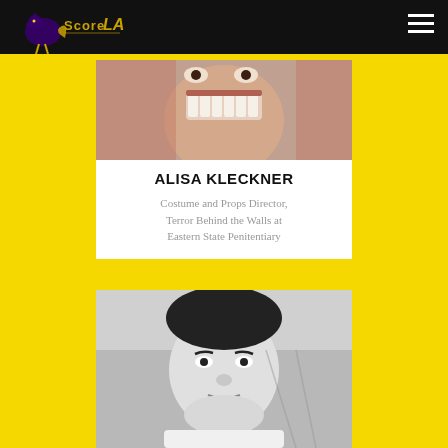[Figure (logo): ScoreLa logo with stylized figure on dark nav bar]
[Figure (photo): Close-up photo of person in monster/horror makeup with large teeth, cropped]
ALISA KLECKNER
Costume and Props Director, Terror Behind the Walls at Eastern State Penitentiary
[Figure (photo): Black and white photo of an Asian man looking slightly downward]